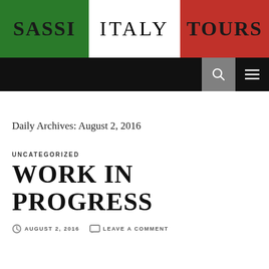[Figure (logo): Sassi Italy Tours header banner with three colored sections: green with SASSI text, white with ITALY text, red with TOURS text]
Navigation bar with search and menu icons
Daily Archives: August 2, 2016
UNCATEGORIZED
WORK IN PROGRESS
AUGUST 2, 2016   LEAVE A COMMENT